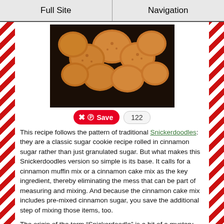Full Site | Navigation
[Figure (photo): Close-up photo of a pile of snickerdoodle cookies with golden-brown cinnamon sugar coating]
Save 122
This recipe follows the pattern of traditional Snickerdoodles: they are a classic sugar cookie recipe rolled in cinnamon sugar rather than just granulated sugar. But what makes this Snickerdoodles version so simple is its base. It calls for a cinnamon muffin mix or a cinnamon cake mix as the key ingredient, thereby eliminating the mess that can be part of measuring and mixing. And because the cinnamon cake mix includes pre-mixed cinnamon sugar, you save the additional step of mixing those items, too.
The origin of the term “Snickerdoodle” is a bit of a mystery (read about it here.) Depending upon what you read, the term could be derived from the German language, Dutch idioms, New England traditions, or even early American folklore.
Regardless of how the cookie got its name, the treats have become a classic – and this is an easy way to make them.